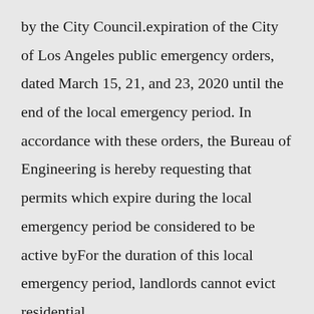by the City Council.expiration of the City of Los Angeles public emergency orders, dated March 15, 21, and 23, 2020 until the end of the local emergency period. In accordance with these orders, the Bureau of Engineering is hereby requesting that permits which expire during the local emergency period be considered to be active byFor the duration of this local emergency period, landlords cannot evict residential